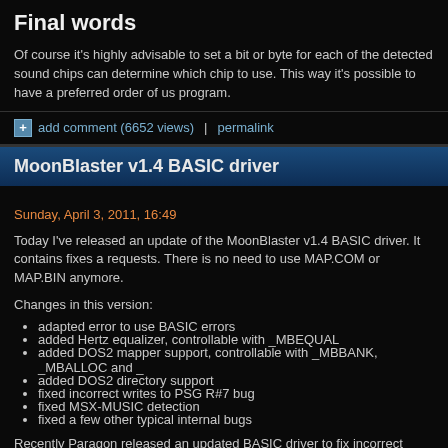Final words
Of course it's highly advisable to set a bit or byte for each of the detected sound chips can determine which chip to use. This way it's possible to have a preferred order of use program.
add comment (6652 views)   |   permalink
MoonBlaster v1.4 BASIC driver
Sunday, April 3, 2011, 16:49
Today I've released an update of the MoonBlaster v1.4 BASIC driver. It contains fixes a requests. There is no need to use MAP.COM or MAP.BIN anymore.
Changes in this version:
adapted error to use BASIC errors
added Hertz equalizer, controllable with _MBEQUAL
added DOS2 mapper support, controllable with _MBBANK, _MBALLOC and _
added DOS2 directory support
fixed incorrect writes to PSG R#7 bug
fixed MSX-MUSIC detection
fixed a few other typical internal bugs
Recently Paragon released an updated BASIC driver to fix incorrect writes to PSG R#7 has turned out this 'fix' can cause unstability when using PSG drums.
The driver can be downloaded from my Home Page or MSX Banzai!